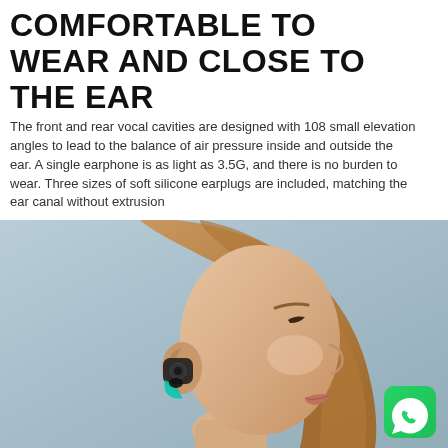COMFORTABLE TO WEAR AND CLOSE TO THE EAR
The front and rear vocal cavities are designed with 108 small elevation angles to lead to the balance of air pressure inside and outside the ear. A single earphone is as light as 3.5G, and there is no burden to wear. Three sizes of soft silicone earplugs are included, matching the ear canal without extrusion
[Figure (photo): A woman wearing a black wireless earbud in her right ear, shown in profile against a light blue-grey background. A WhatsApp logo badge is in the bottom-right corner.]